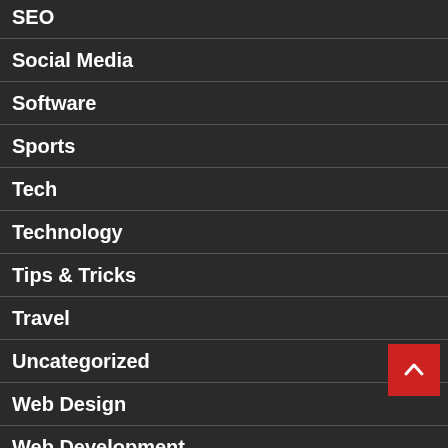SEO
Social Media
Software
Sports
Tech
Technology
Tips & Tricks
Travel
Uncategorized
Web Design
Web Development
Wedding Relationship